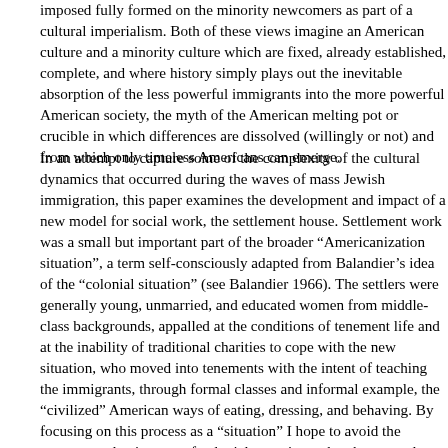imposed fully formed on the minority newcomers as part of a cultural imperialism. Both of these views imagine an American culture and a minority culture which are fixed, already established, complete, and where history simply plays out the inevitable absorption of the less powerful immigrants into the more powerful American society, the myth of the American melting pot or crucible in which differences are dissolved (willingly or not) and from which only timeless Americans can emerge.
In an attempt to capture some of the complexity of the cultural dynamics that occurred during the waves of mass Jewish immigration, this paper examines the development and impact of a new model for social work, the settlement house. Settlement work was a small but important part of the broader "Americanization situation", a term self-consciously adapted from Balandier's idea of the "colonial situation" (see Balandier 1966). The settlers were generally young, unmarried, and educated women from middle-class backgrounds, appalled at the conditions of tenement life and at the inability of traditional charities to cope with the new situation, who moved into tenements with the intent of teaching the immigrants, through formal classes and informal example, the "civilized" American ways of eating, dressing, and behaving. By focusing on this process as a "situation" I hope to avoid the common reductiveness of colonial narratives whereby one culture is simply opposed to and imposed on another, while at the same time not leaving the power imbalances ignored (perhaps willfully) in the "rags-to-riches" stories of Jewish upward mobility. I mean to portray the settlement encounter as an entanglement of dynamic cultures and ideologies, as movements of goal-motivated persons in and between overlapping fields of experience.